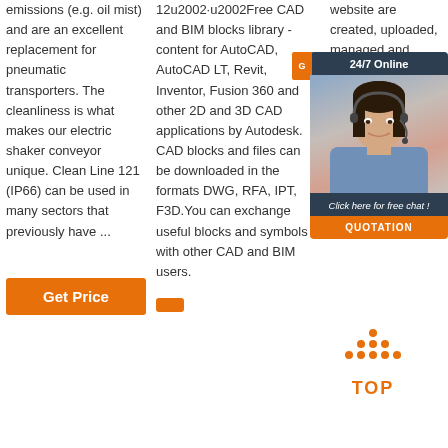emissions (e.g. oil mist) and are an excellent replacement for pneumatic transporters. The cleanliness is what makes our electric shaker conveyor unique. Clean Line 121 (IP66) can be used in many sectors that previously have ...
[Figure (other): Orange 'Get Price' button]
12u2002·u2002Free CAD and BIM blocks library - content for AutoCAD, AutoCAD LT, Revit, Inventor, Fusion 360 and other 2D and 3D CAD applications by Autodesk. CAD blocks and files can be downloaded in the formats DWG, RFA, IPT, F3D.You can exchange useful blocks and symbols with other CAD and BIM users.
website are created, uploaded, managed and owned by …
[Figure (photo): 24/7 Online chat widget with woman wearing headset, Click here for free chat!, QUOTATION button]
[Figure (other): TOP navigation button with orange dots forming an upward arrow and the word TOP in orange]